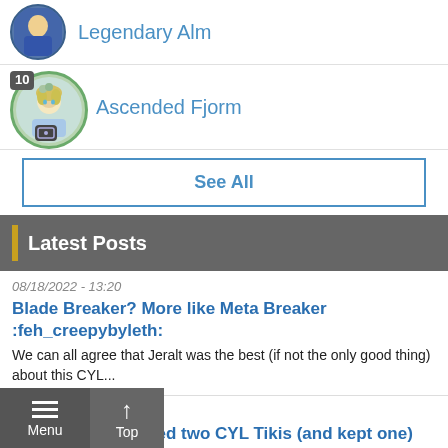Legendary Alm
10 Ascended Fjorm
See All
Latest Posts
08/18/2022 - 13:20
Blade Breaker? More like Meta Breaker :feh_creepybyleth:
We can all agree that Jeralt was the best (if not the only good thing) about this CYL...
08/18/2022 - 07:17
Ask a guy that killed two CYL Tikis (and kept one) anything